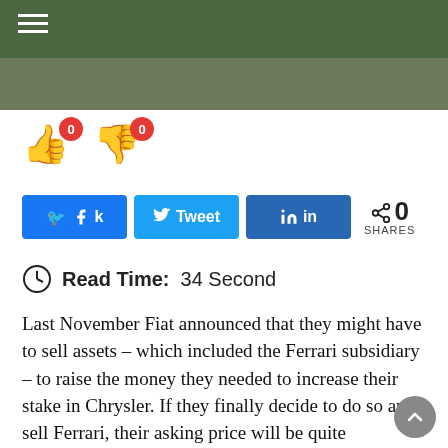[Figure (other): Dark olive green navigation header bar with hamburger menu icon (three white horizontal lines) on the left]
[Figure (photo): Partial image strip below header, dark olive/grey tone, appears to show a background image]
[Figure (other): Vote buttons: thumbs up emoji with red badge showing 0, thumbs down emoji with red badge showing 0]
[Figure (other): Social share buttons: Facebook (k share), Twitter (tweet), LinkedIn (in share), and a share count showing 0 SHARES]
Read Time: 34 Second
Last November Fiat announced that they might have to sell assets – which included the Ferrari subsidiary – to raise the money they needed to increase their stake in Chrysler. If they finally decide to do so and sell Ferrari, their asking price will be quite impressive: €5 billion ($7.3 billion)